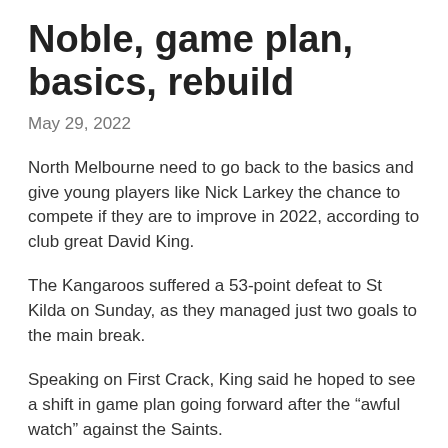Noble, game plan, basics, rebuild
May 29, 2022
North Melbourne need to go back to the basics and give young players like Nick Larkey the chance to compete if they are to improve in 2022, according to club great David King.
The Kangaroos suffered a 53-point defeat to St Kilda on Sunday, as they managed just two goals to the main break.
Speaking on First Crack, King said he hoped to see a shift in game plan going forward after the “awful watch” against the Saints.